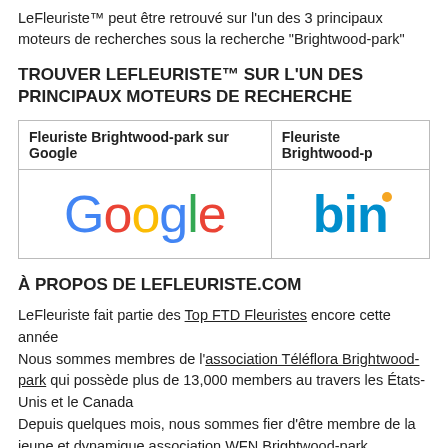LeFleuriste™ peut être retrouvé sur l'un des 3 principaux moteurs de recherches sous la recherche "Brightwood-park"
TROUVER LEFLEURISTE™ SUR L'UN DES PRINCIPAUX MOTEURS DE RECHERCHE
| Fleuriste Brightwood-park sur Google | Fleuriste Brightwood-p... |
| --- | --- |
| Google logo | Bing logo |
À PROPOS DE LEFLEURISTE.COM
LeFleuriste fait partie des Top FTD Fleuristes encore cette année
Nous sommes membres de l'association Téléflora Brightwood-park qui possède plus de 13,000 members au travers les États-Unis et le Canada
Depuis quelques mois, nous sommes fier d'être membre de la jeune et dynamique association WFN Brightwood-park
Nous sommes une entreprise familiale qui offre le service de livraison à Brightwood-park depuis plusieurs années. Canada